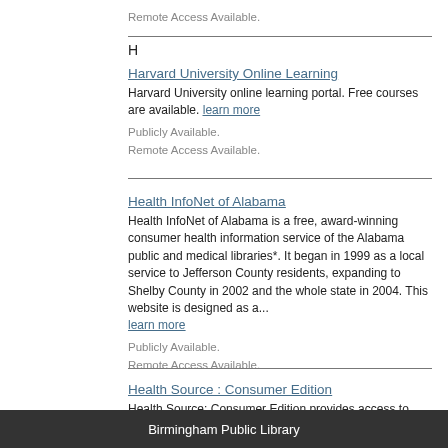Remote Access Available.
H
Harvard University Online Learning — Harvard University online learning portal. Free courses are available. learn more
Publicly Available.
Remote Access Available.
Health InfoNet of Alabama — Health InfoNet of Alabama is a free, award-winning consumer health information service of the Alabama public and medical libraries*. It began in 1999 as a local service to Jefferson County residents, expanding to Shelby County in 2002 and the whole state in 2004. This website is designed as a... learn more
Publicly Available.
Remote Access Available.
Health Source : Consumer Edition — Health Source: Consumer Edition provides access to nearly 80 full text, consumer health magazines, including American...
Birmingham Public Library